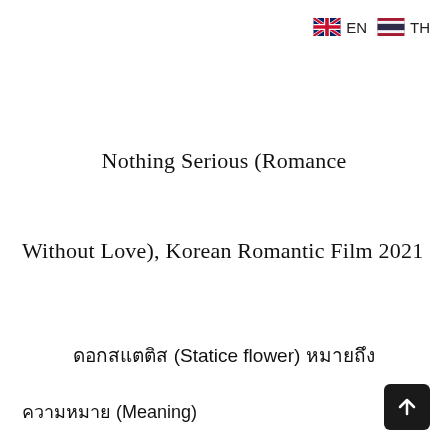🇬🇧 EN 🇹🇭 TH
Nothing Serious (Romance Without Love), Korean Romantic Film 2021
ดอกสแตติส (Statice flower) หมายถึง
ความหมาย (Meaning)